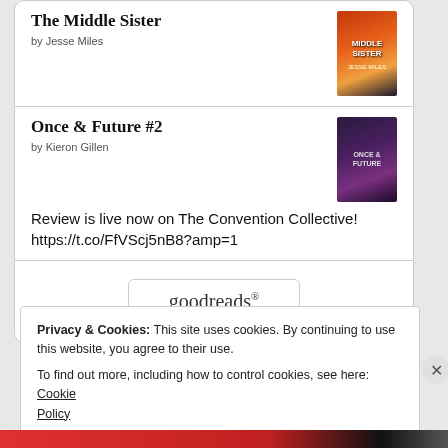The Middle Sister
by Jesse Miles
Once & Future #2
by Kieron Gillen
Review is live now on The Convention Collective! https://t.co/FfVScj5nB8?amp=1
[Figure (logo): Goodreads logo button]
Privacy & Cookies: This site uses cookies. By continuing to use this website, you agree to their use.
To find out more, including how to control cookies, see here: Cookie Policy
Close and accept